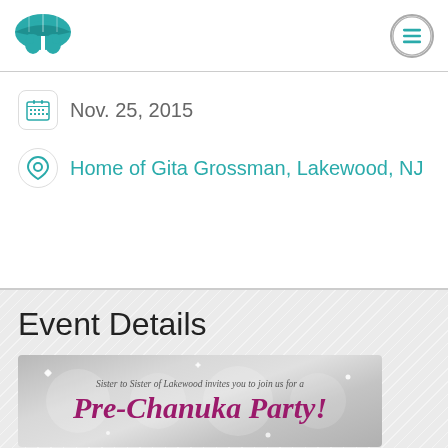[Figure (logo): Teal umbrella and person/figures logo for Sister to Sister organization]
[Figure (other): Hamburger menu button (three horizontal teal lines in a circle)]
Nov. 25, 2015
Home of Gita Grossman, Lakewood, NJ
Event Details
[Figure (photo): Invitation card with text: 'Sister to Sister of Lakewood invites you to join us for a Pre-Chanuka Party!']